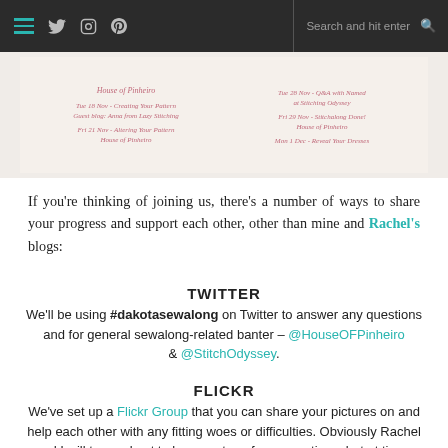Navigation bar with hamburger menu, Twitter icon, Instagram icon, Pinterest icon, and search bar
[Figure (other): Scanned schedule/flyer image for a sew-along event, showing dates and blog names in cursive pink text on cream background]
If you're thinking of joining us, there's a number of ways to share your progress and support each other, other than mine and Rachel's blogs:
TWITTER
We'll be using #dakotasewalong on Twitter to answer any questions and for general sewalong-related banter – @HouseOFPinheiro & @StitchOdyssey.
FLICKR
We've set up a Flickr Group that you can share your pictures on and help each other with any fitting woes or difficulties. Obviously Rachel and I will try our best to keep on top of any questions, but at times when we're not available this will be a good alternative.